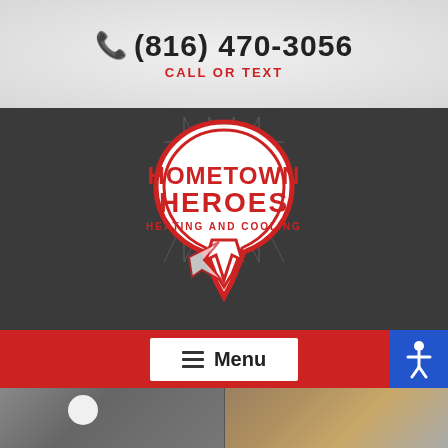📞 (816) 470-3056
CALL OR TEXT
[Figure (logo): Hometown Heroes Heating and Cooling logo — circular badge with red border and white fill, text HOMETOWN HEROES HEATING AND COOLING in red block letters, arrow pointing down at bottom, on dark charcoal background]
≡ Menu
[Figure (photo): Photo of HVAC technician with tool belt and refrigerant gauges/manifold equipment]